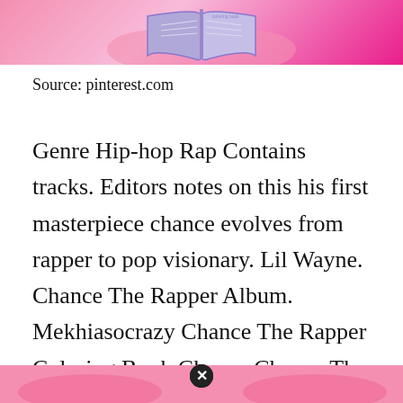[Figure (illustration): Pink background with an open book illustration, partial view at top of page]
Source: pinterest.com
Genre Hip-hop Rap Contains tracks. Editors notes on this his first masterpiece chance evolves from rapper to pop visionary. Lil Wayne. Chance The Rapper Album. Mekhiasocrazy Chance The Rapper Coloring Book Chance Chance The Rapper Wallpaper.
[Figure (illustration): Pink background partial illustration at bottom of page with a close/X button overlay]